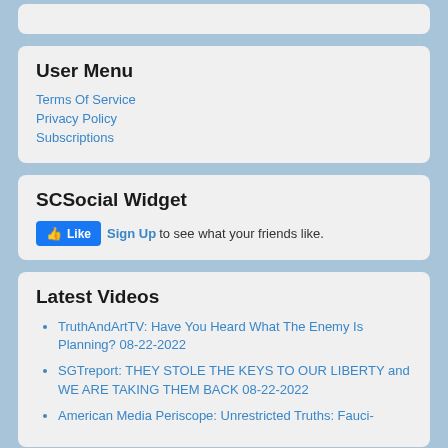User Menu
Terms Of Service
Privacy Policy
Subscriptions
SCSocial Widget
Like  Sign Up to see what your friends like.
Latest Videos
TruthAndArtTV: Have You Heard What The Enemy Is Planning? 08-22-2022
SGTreport: THEY STOLE THE KEYS TO OUR LIBERTY and WE ARE TAKING THEM BACK 08-22-2022
American Media Periscope: Unrestricted Truths: Fauci-